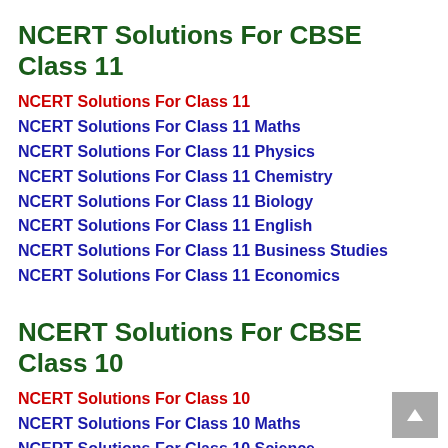NCERT Solutions For CBSE Class 11
NCERT Solutions For Class 11
NCERT Solutions For Class 11 Maths
NCERT Solutions For Class 11 Physics
NCERT Solutions For Class 11 Chemistry
NCERT Solutions For Class 11 Biology
NCERT Solutions For Class 11 English
NCERT Solutions For Class 11 Business Studies
NCERT Solutions For Class 11 Economics
NCERT Solutions For CBSE Class 10
NCERT Solutions For Class 10
NCERT Solutions For Class 10 Maths
NCERT Solutions For Class 10 Science